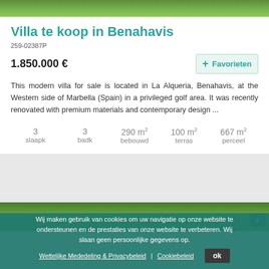[Figure (photo): Top photo strip showing green garden/grass area]
Villa te koop in Benahavis
259-02387P
1.850.000 €
+ Favorieten
This modern villa for sale is located in La Alqueria, Benahavis, at the Western side of Marbella (Spain) in a privileged golf area. It was recently renovated with premium materials and contemporary design ...
| slaapk | badk | bebouwd | terras | perceel |
| --- | --- | --- | --- | --- |
| 3 | 3 | 290 m² | 100 m² | 667 m² |
[Figure (photo): Bottom photo showing green landscape/trees in Benahavis area]
Wij maken gebruik van cookies om uw navigatie op onze website te ondersteunen en de prestaties van onze website te verbeteren. Wij slaan geen persoonlijke gegevens op.
Wettelijke Mededeling & Privacybeleid | Cookiebeleid  ok